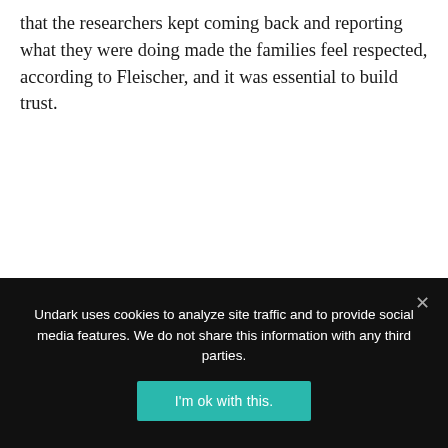that the researchers kept coming back and reporting what they were doing made the families feel respected, according to Fleischer, and it was essential to build trust.
Undark uses cookies to analyze site traffic and to provide social media features. We do not share this information with any third parties.